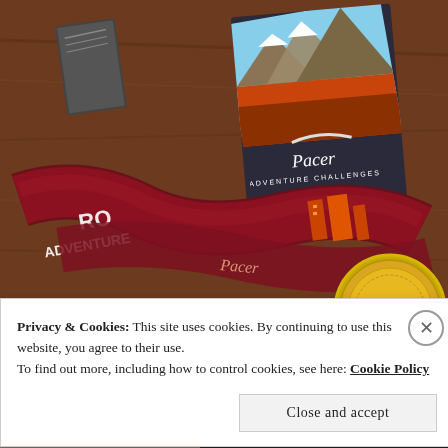[Figure (photo): A photo showing a Pacer Adventure Challenges book/notebook propped up on a wooden table, with a dark red/maroon ribbon medal lanyard featuring adventure imagery draped in front. The lanyard shows text 'ROAD ADVENTURE' and images of buildings in orange/red tones. A circular medal is partially visible at the bottom right.]
Privacy & Cookies: This site uses cookies. By continuing to use this website, you agree to their use.
To find out more, including how to control cookies, see here: Cookie Policy
Close and accept